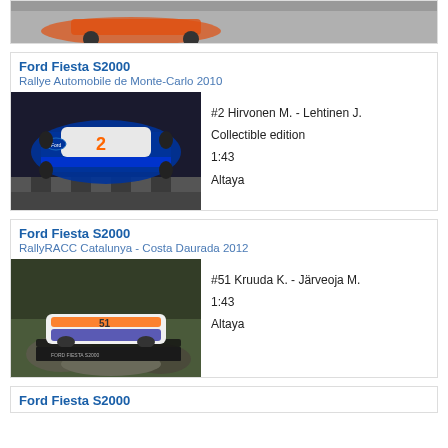[Figure (photo): Partial view of a rally car model at top of page]
Ford Fiesta S2000
Rallye Automobile de Monte-Carlo 2010
[Figure (photo): Photo of Ford Fiesta S2000 #2 Hirvonen M. - Lehtinen J. die-cast model car, blue/white/orange livery, top-down angle]
#2 Hirvonen M. - Lehtinen J.
Collectible edition
1:43
Altaya
Ford Fiesta S2000
RallyRACC Catalunya - Costa Daurada 2012
[Figure (photo): Photo of Ford Fiesta S2000 #51 Kruuda K. - Järveoja M. die-cast model car on rocky outdoor background]
#51 Kruuda K. - Järveoja M.
1:43
Altaya
Ford Fiesta S2000